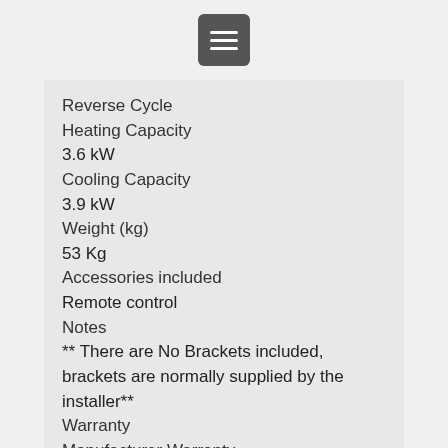[menu icon]
Reverse Cycle
Heating Capacity
3.6 kW
Cooling Capacity
3.9 kW
Weight (kg)
53 Kg
Accessories included
Remote control
Notes
** There are No Brackets included, brackets are normally supplied by the installer**
Warranty
Manufacturer Warranty
5 Years
Warranty Note
5 Year Parts and labour all Parts Included